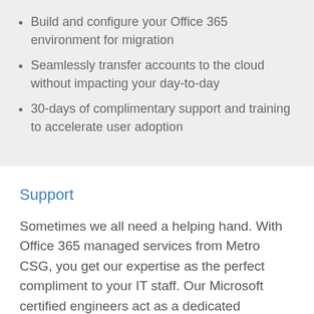Build and configure your Office 365 environment for migration
Seamlessly transfer accounts to the cloud without impacting your day-to-day
30-days of complimentary support and training to accelerate user adoption
Support
Sometimes we all need a helping hand. With Office 365 managed services from Metro CSG, you get our expertise as the perfect compliment to your IT staff. Our Microsoft certified engineers act as a dedicated extension of your team to provide Office 365 help and...